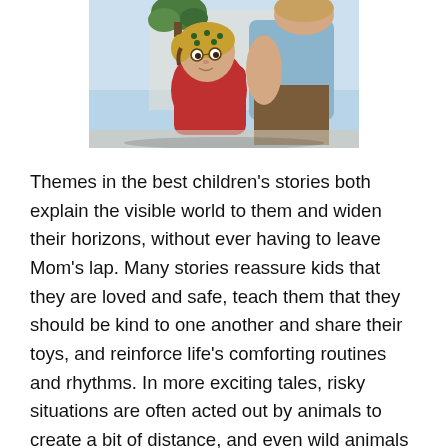[Figure (illustration): Illustration of a child in a pirate-style bandana looking up at an adult figure, colorful painted style reminiscent of a children's book cover.]
Themes in the best children's stories both explain the visible world to them and widen their horizons, without ever having to leave Mom's lap. Many stories reassure kids that they are loved and safe, teach them that they should be kind to one another and share their toys, and reinforce life's comforting routines and rhythms. In more exciting tales, risky situations are often acted out by animals to create a bit of distance, and even wild animals like bears are depicted as soft and bumbling. Other stories show scary scenarios—from the first day of school to being captured by pirates—with the young heroes finding confidence to gain control over their worlds. Books provide